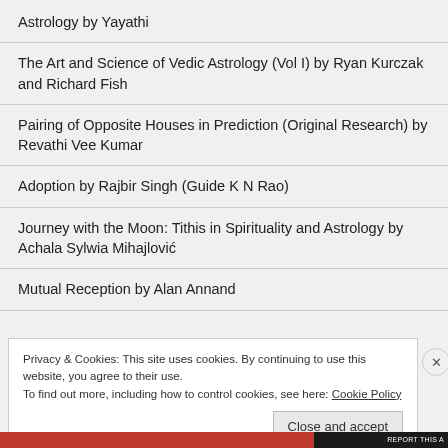Astrology by Yayathi
The Art and Science of Vedic Astrology (Vol I) by Ryan Kurczak and Richard Fish
Pairing of Opposite Houses in Prediction (Original Research) by Revathi Vee Kumar
Adoption by Rajbir Singh (Guide K N Rao)
Journey with the Moon: Tithis in Spirituality and Astrology by Achala Sylwia Mihajlović
Mutual Reception by Alan Annand
Privacy & Cookies: This site uses cookies. By continuing to use this website, you agree to their use.
To find out more, including how to control cookies, see here: Cookie Policy
Close and accept